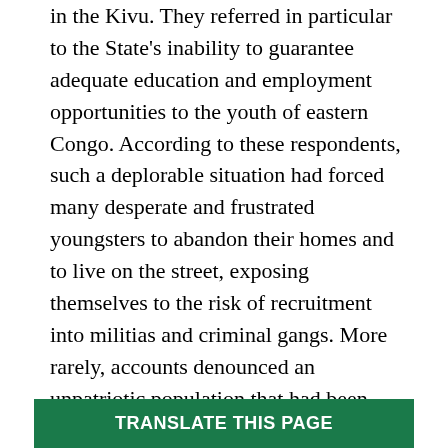in the Kivu. They referred in particular to the State's inability to guarantee adequate education and employment opportunities to the youth of eastern Congo. According to these respondents, such a deplorable situation had forced many desperate and frustrated youngsters to abandon their homes and to live on the street, exposing themselves to the risk of recruitment into militias and criminal gangs. More rarely, accounts denounced an unpatriotic population that had been insufficiently supportive of the government's efforts to counter the country's various security threats.
The threats to which pupils commonly alluded were perceived to have primarily come from abroad. According to the dominant narrative recounted by young Congolese, a [text obscured] ence